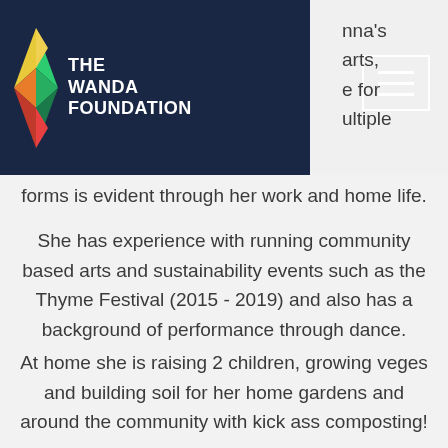The Wanda Foundation
nna's arts, e for ultiple forms is evident through her work and home life.
She has experience with running community based arts and sustainability events such as the Thyme Festival (2015 - 2019) and also has a background of performance through dance.
At home she is raising 2 children, growing veges and building soil for her home gardens and around the community with kick ass composting!
Anna is committed to continue sharing and developing her skills, support positive outlets for education and the arts and sees the Waste Free Wanda Foundation as an immensely important and critical part of bringing arts and